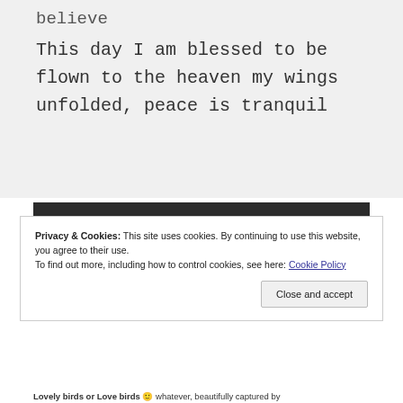believe

This day I am blessed to be flown to the heaven my wings unfolded, peace is tranquil
[Figure (photo): Dark/black rectangular image area]
Privacy & Cookies: This site uses cookies. By continuing to use this website, you agree to their use.
To find out more, including how to control cookies, see here: Cookie Policy
Close and accept
Lovely birds or Love birds 🙂 whatever, beautifully captured by